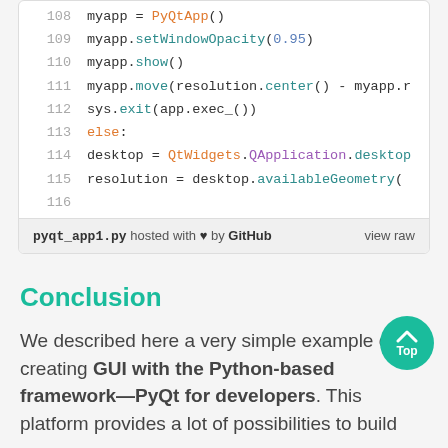[Figure (screenshot): Code snippet showing Python PyQt application code, lines 108-116, with syntax highlighting. Line 108: myapp = PyQtApp(), Line 109: myapp.setWindowOpacity(0.95), Line 110: myapp.show(), Line 111: myapp.move(resolution.center() - myapp.r, Line 112: sys.exit(app.exec_()), Line 113: else:, Line 114: desktop = QtWidgets.QApplication.desktop, Line 115: resolution = desktop.availableGeometry(), Line 116: (empty). Footer: pyqt_app1.py hosted with heart by GitHub  view raw]
Conclusion
We described here a very simple example of creating GUI with the Python-based framework—PyQt for developers. This platform provides a lot of possibilities to build